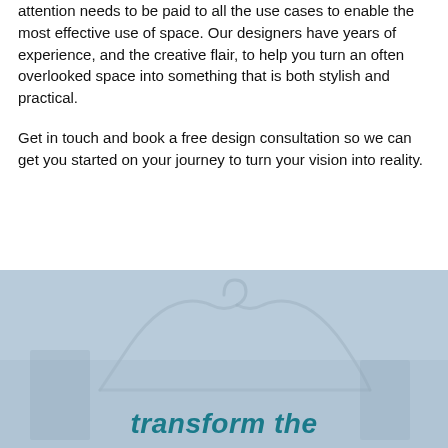attention needs to be paid to all the use cases to enable the most effective use of space. Our designers have years of experience, and the creative flair, to help you turn an often overlooked space into something that is both stylish and practical.
Get in touch and book a free design consultation so we can get you started on your journey to turn your vision into reality.
[Figure (photo): A light blue-grey tinted interior/architectural photo showing a curved or arched element (possibly a clothing hanger or architectural arch), with overlaid italic bold teal text reading 'transform the']